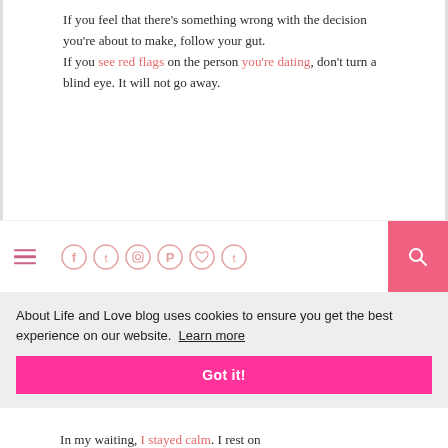If you feel that there's something wrong with the decision you're about to make, follow your gut. If you see red flags on the person you're dating, don't turn a blind eye. It will not go away.
[Figure (screenshot): Navigation bar with hamburger menu icon on left, social media icon circles (Facebook, Twitter, Instagram, Pinterest, Heart/Bloglovin, Tumblr) in center, and pink search button on right]
About Life and Love blog uses cookies to ensure you get the best experience on our website. Learn more
Got it!
In my waiting, I stayed calm. I rest on